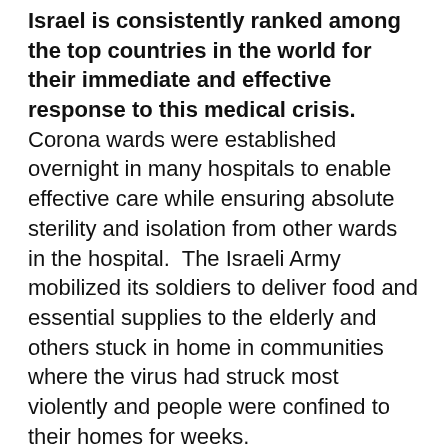coronavirus pandemic all over the world and Israel is consistently ranked among the top countries in the world for their immediate and effective response to this medical crisis. Corona wards were established overnight in many hospitals to enable effective care while ensuring absolute sterility and isolation from other wards in the hospital. The Israeli Army mobilized its soldiers to deliver food and essential supplies to the elderly and others stuck in home in communities where the virus had struck most violently and people were confined to their homes for weeks.
During these weeks of staying at home, I consumed a great deal of information on the television about the pandemic. One story in particular amazed me. We were given an inside